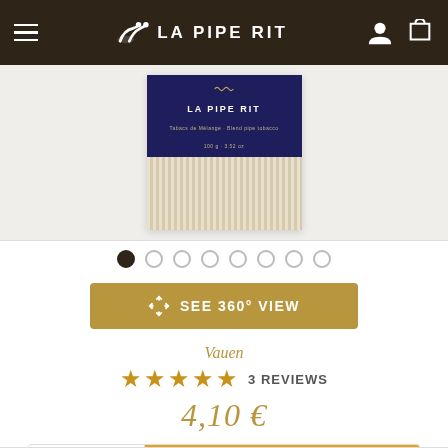LA PIPE RIT
[Figure (photo): Product image of La Pipe Rit tobacco pouch with dark blue label and fringe/tassel bottom]
Vauen
3 REVIEWS
4,10 €
ADD TO CART